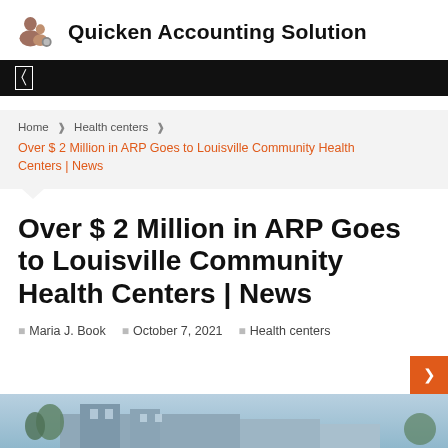Quicken Accounting Solution
[Figure (other): Black navigation bar with a small white square bracket icon on the left]
Home  ❯  Health centers  ❯  Over $ 2 Million in ARP Goes to Louisville Community Health Centers | News
Over $ 2 Million in ARP Goes to Louisville Community Health Centers | News
Maria J. Book   October 7, 2021   Health centers
[Figure (photo): Partial photo of a building, likely a community health center, visible at the bottom of the page]